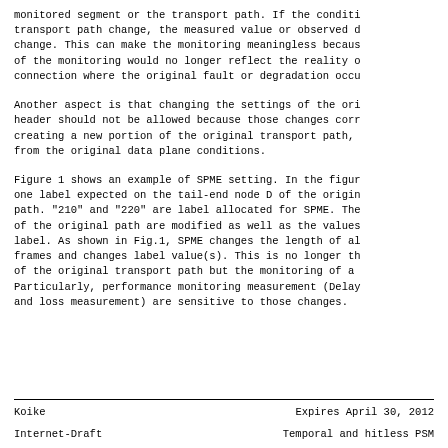monitored segment or the transport path. If the conditi transport path change, the measured value or observed d change. This can make the monitoring meaningless becaus of the monitoring would no longer reflect the reality o connection where the original fault or degradation occu
Another aspect is that changing the settings of the ori header should not be allowed because those changes corr creating a new portion of the original transport path, from the original data plane conditions.
Figure 1 shows an example of SPME setting. In the figur one label expected on the tail-end node D of the origin path. "210" and "220" are label allocated for SPME. The of the original path are modified as well as the values label. As shown in Fig.1, SPME changes the length of al frames and changes label value(s). This is no longer th of the original transport path but the monitoring of a Particularly, performance monitoring measurement (Delay and loss measurement) are sensitive to those changes.
Koike                    Expires April 30, 2012
Internet-Draft       Temporal and hitless PSM